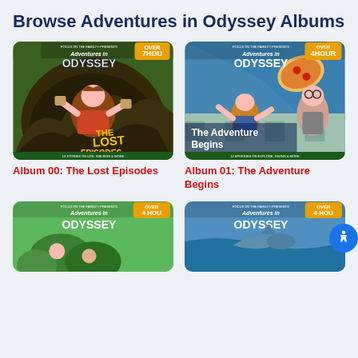Browse Adventures in Odyssey Albums
[Figure (illustration): Album 00: The Lost Episodes cover art — Adventures in Odyssey, Focus on the Family, shows a boy in a cave with 'The Lost Episodes' text, over 7 hours of audio]
[Figure (illustration): Album 01: The Adventure Begins cover art — Adventures in Odyssey, Focus on the Family, shows a boy and old man with pizza, 'The Adventure Begins' text, 4 hours of audio]
Album 00: The Lost Episodes
Album 01: The Adventure Begins
[Figure (illustration): Album cover (partial) — Adventures in Odyssey, Focus on the Family, green background, 4 hours of audio]
[Figure (illustration): Album cover (partial) — Adventures in Odyssey, Focus on the Family, blue/aqua background, 4 hours of audio]